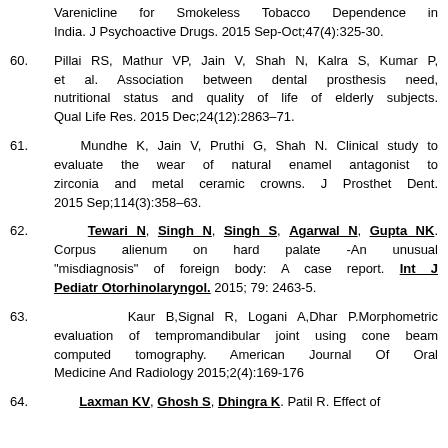Varenicline for Smokeless Tobacco Dependence in India. J Psychoactive Drugs. 2015 Sep-Oct;47(4):325-30.
60. Pillai RS, Mathur VP, Jain V, Shah N, Kalra S, Kumar P, et al. Association between dental prosthesis need, nutritional status and quality of life of elderly subjects. Qual Life Res. 2015 Dec;24(12):2863–71.
61. Mundhe K, Jain V, Pruthi G, Shah N. Clinical study to evaluate the wear of natural enamel antagonist to zirconia and metal ceramic crowns. J Prosthet Dent. 2015 Sep;114(3):358–63.
62. Tewari N, Singh N, Singh S, Agarwal N, Gupta NK. Corpus alienum on hard palate -An unusual "misdiagnosis" of foreign body: A case report. Int J Pediatr Otorhinolaryngol. 2015; 79: 2463-5.
63. Kaur B,Signal R, Logani A,Dhar P.Morphometric evaluation of tempromandibular joint using cone beam computed tomography. American Journal Of Oral Medicine And Radiology 2015;2(4):169-176
64. Laxman KV, Ghosh S, Dhingra K. Patil R. Effect of